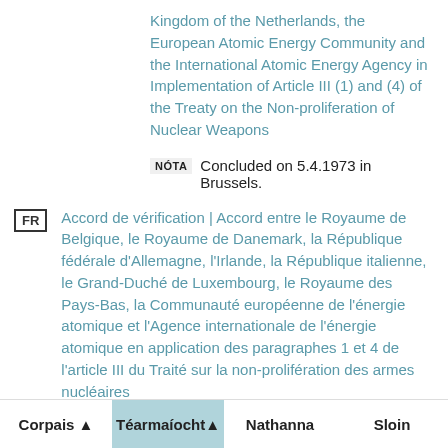Kingdom of the Netherlands, the European Atomic Energy Community and the International Atomic Energy Agency in Implementation of Article III (1) and (4) of the Treaty on the Non-proliferation of Nuclear Weapons
NÓTA  Concluded on 5.4.1973 in Brussels.
FR  Accord de vérification | Accord entre le Royaume de Belgique, le Royaume de Danemark, la République fédérale d'Allemagne, l'Irlande, la République italienne, le Grand-Duché de Luxembourg, le Royaume des Pays-Bas, la Communauté européenne de l'énergie atomique et l'Agence internationale de l'énergie atomique en application des paragraphes 1 et 4 de l'article III du Traité sur la non-prolifération des armes nucléaires
NÓTA  MISC: Signature: 1973.04.05
Corpais ▲   Téarmaíocht ▲   Nathanna   Sloin